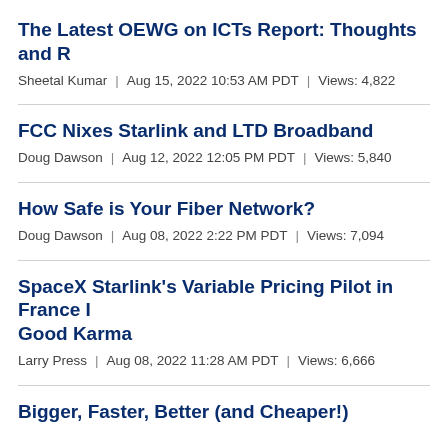The Latest OEWG on ICTs Report: Thoughts and R
Sheetal Kumar | Aug 15, 2022 10:53 AM PDT | Views: 4,822
FCC Nixes Starlink and LTD Broadband
Doug Dawson | Aug 12, 2022 12:05 PM PDT | Views: 5,840
How Safe is Your Fiber Network?
Doug Dawson | Aug 08, 2022 2:22 PM PDT | Views: 7,094
SpaceX Starlink's Variable Pricing Pilot in France I Good Karma
Larry Press | Aug 08, 2022 11:28 AM PDT | Views: 6,666
Bigger, Faster, Better (and Cheaper!)